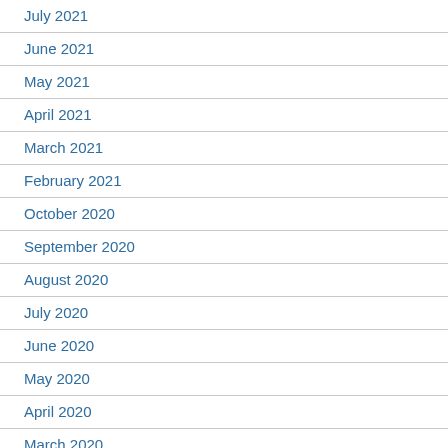July 2021
June 2021
May 2021
April 2021
March 2021
February 2021
October 2020
September 2020
August 2020
July 2020
June 2020
May 2020
April 2020
March 2020
February 2020